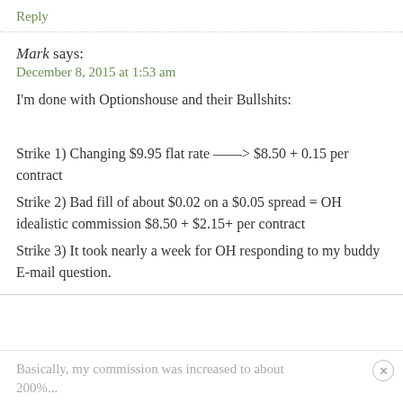Reply
Mark says:
December 8, 2015 at 1:53 am
I'm done with Optionshouse and their Bullshits:

Strike 1) Changing $9.95 flat rate —–> $8.50 + 0.15 per contract
Strike 2) Bad fill of about $0.02 on a $0.05 spread = OH idealistic commission $8.50 + $2.15+ per contract
Strike 3) It took nearly a week for OH responding to my buddy E-mail question.
Basically, my commission was increased to about 200%...